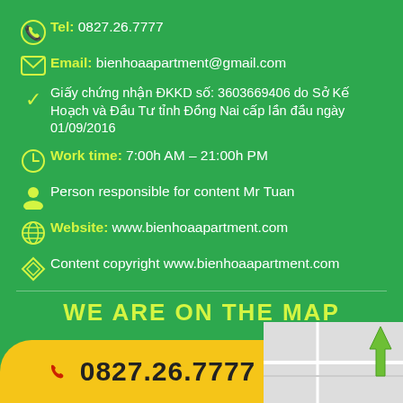Tel: 0827.26.7777
Email: bienhoaapartment@gmail.com
Giấy chứng nhận ĐKKD số: 3603669406 do Sở Kế Hoạch và Đầu Tư tỉnh Đồng Nai cấp lần đầu ngày 01/09/2016
Work time: 7:00h AM – 21:00h PM
Person responsible for content Mr Tuan
Website: www.bienhoaapartment.com
Content copyright www.bienhoaapartment.com
WE ARE ON THE MAP
0827.26.7777